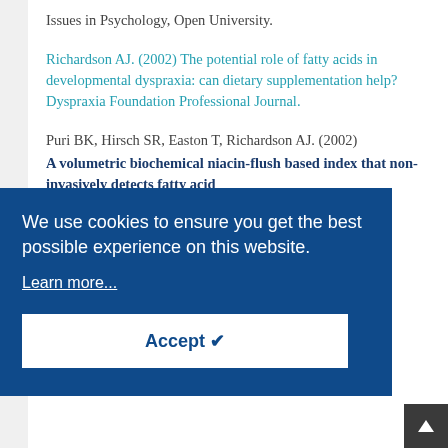Issues in Psychology, Open University.
Richardson AJ. (2002) The potential role of fatty acids in developmental dyspraxia: can dietary supplementation help? Dyspraxia Foundation Professional Journal.
Puri BK, Hirsch SR, Easton T, Richardson AJ. (2002) A volumetric biochemical niacin-flush based index that non-invasively detects fatty acid
We use cookies to ensure you get the best possible experience on this website.
Learn more...
Accept ✔